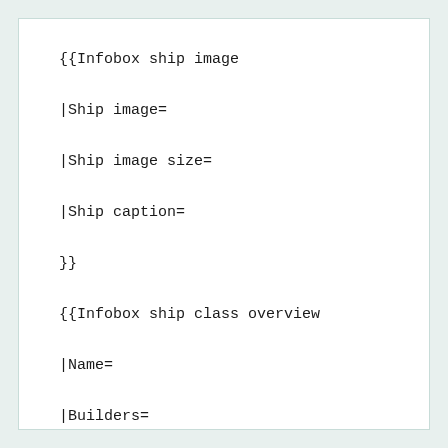{{Infobox ship image

|Ship image=

|Ship image size=

|Ship caption=

}}

{{Infobox ship class overview

|Name=

|Builders=